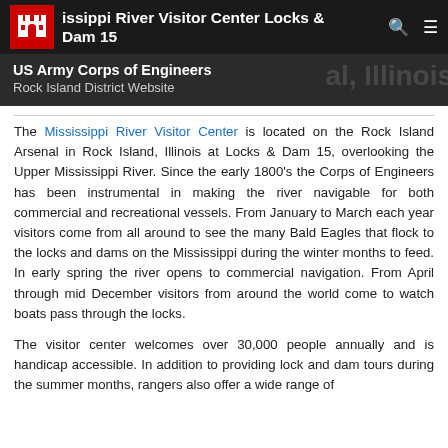Mississippi River Visitor Center Locks & Dam 15
US Army Corps of Engineers
Rock Island District Website
The Mississippi River Visitor Center is located on the Rock Island Arsenal in Rock Island, Illinois at Locks & Dam 15, overlooking the Upper Mississippi River. Since the early 1800's the Corps of Engineers has been instrumental in making the river navigable for both commercial and recreational vessels. From January to March each year visitors come from all around to see the many Bald Eagles that flock to the locks and dams on the Mississippi during the winter months to feed. In early spring the river opens to commercial navigation. From April through mid December visitors from around the world come to watch boats pass through the locks.
The visitor center welcomes over 30,000 people annually and is handicap accessible. In addition to providing lock and dam tours during the summer months, rangers also offer a wide range of